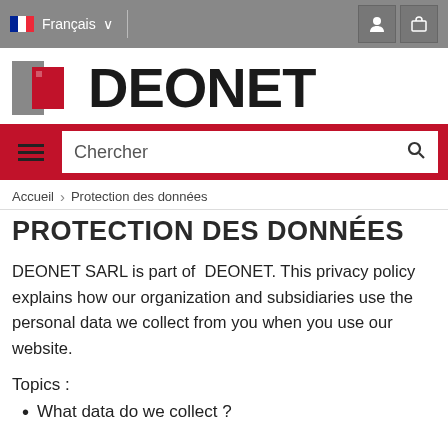Français  |
[Figure (logo): DEONET logo with grey and red square icon and bold DEONET text]
Chercher
Accueil > Protection des données
PROTECTION DES DONNÉES
DEONET SARL is part of DEONET. This privacy policy explains how our organization and subsidiaries use the personal data we collect from you when you use our website.
Topics :
What data do we collect ?